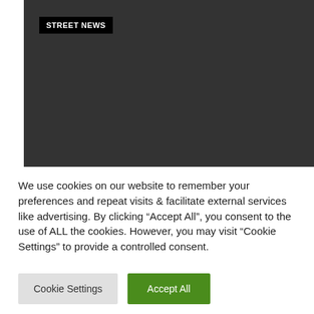[Figure (screenshot): Dark gray video or image placeholder with a 'STREET NEWS' label badge in the top-left corner]
We use cookies on our website to remember your preferences and repeat visits & facilitate external services like advertising. By clicking “Accept All”, you consent to the use of ALL the cookies. However, you may visit "Cookie Settings" to provide a controlled consent.
Cookie Settings
Accept All